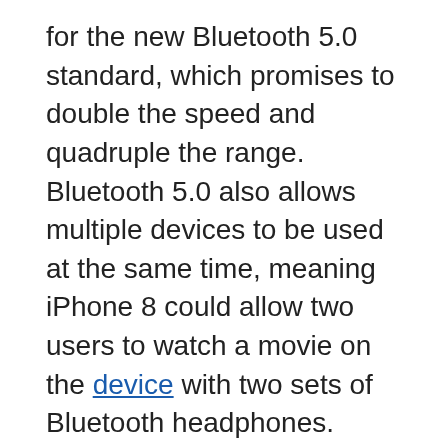for the new Bluetooth 5.0 standard, which promises to double the speed and quadruple the range. Bluetooth 5.0 also allows multiple devices to be used at the same time, meaning iPhone 8 could allow two users to watch a movie on the device with two sets of Bluetooth headphones.
Bluetooth 5.0 was certified by Bluetooth Special Interest Group back in June 2016. Apple is a promoting member of the organization with voting rights.
In February of this year, Apple joined Wireless Power Consortium, potentially giving some credence to rumors about wireless charging in iPhone 8. The Cupertino company is listed as a member on the organization's website.